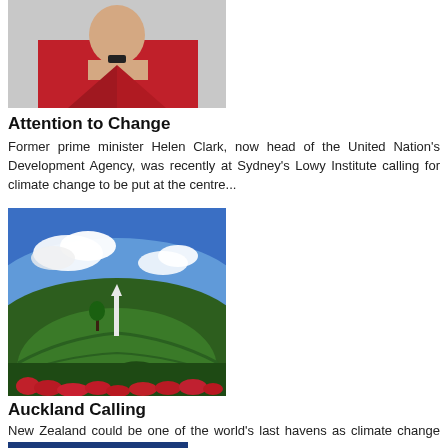[Figure (photo): Partial photo of a woman in a red jacket, cropped at the top]
Attention to Change
Former prime minister Helen Clark, now head of the United Nation's Development Agency, was recently at Sydney's Lowy Institute calling for climate change to be put at the centre...
[Figure (illustration): Illustration of lush green New Zealand hills with red flowers in foreground, a tall white obelisk/tower on the hilltop, blue sky with clouds]
Auckland Calling
New Zealand could be one of the world's last havens as climate change fundamentally changes the planet according to the scientist and creator of the Gaia theory James Lovelock,...
[Figure (other): Blue button partially visible at bottom of page, likely a 'More Items' or navigation button]